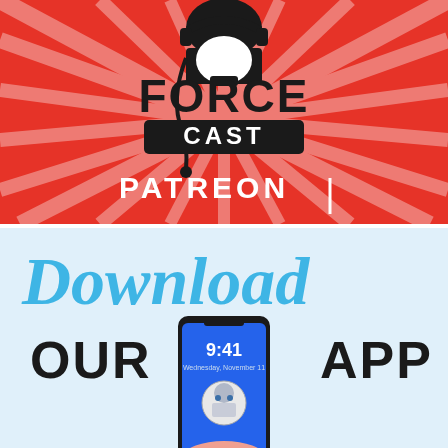[Figure (logo): ForceCast podcast logo on red sunburst background with Darth Vader helmet wearing headphones, text reads FORCE CAST, with PATREON text and vertical bar below]
[Figure (infographic): Download Our App promotional banner on light blue background, with cursive blue Download text, bold black OUR APP text, and a hand holding a smartphone showing R2-D2 wallpaper at 9:41]